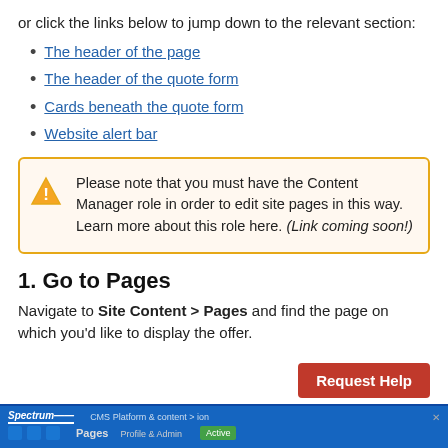or click the links below to jump down to the relevant section:
The header of the page
The header of the quote form
Cards beneath the quote form
Website alert bar
Please note that you must have the Content Manager role in order to edit site pages in this way. Learn more about this role here. (Link coming soon!)
1. Go to Pages
Navigate to Site Content > Pages and find the page on which you'd like to display the offer.
[Figure (screenshot): Screenshot of a CMS interface showing a Pages navigation section with Spectrum branding and a blue toolbar.]